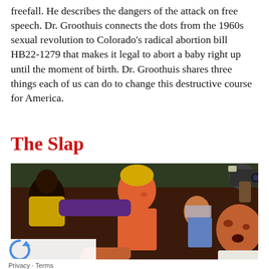freefall. He describes the dangers of the attack on free speech. Dr. Groothuis connects the dots from the 1960s sexual revolution to Colorado's radical abortion bill HB22-1279 that makes it legal to abort a baby right up until the moment of birth. Dr. Groothuis shares three things each of us can do to change this destructive course for America.
The Slap
[Figure (illustration): Vintage pulp-style illustration showing a brawl scene with multiple figures: a shirtless blond man being slapped, an onlooker covering their face, another figure recoiling, a dark-skinned figure in the background, and a photographer with a camera in the upper right corner.]
Privacy · Terms